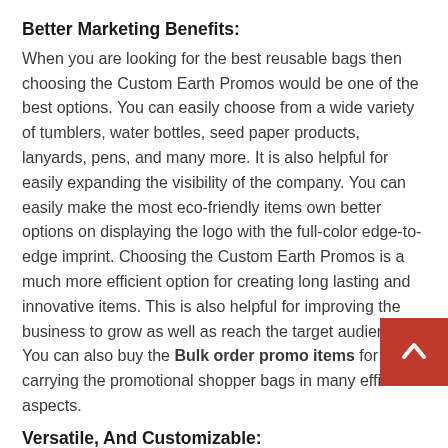Better Marketing Benefits:
When you are looking for the best reusable bags then choosing the Custom Earth Promos would be one of the best options. You can easily choose from a wide variety of tumblers, water bottles, seed paper products, lanyards, pens, and many more. It is also helpful for easily expanding the visibility of the company. You can easily make the most eco-friendly items own better options on displaying the logo with the full-color edge-to-edge imprint. Choosing the Custom Earth Promos is a much more efficient option for creating long lasting and innovative items. This is also helpful for improving the business to grow as well as reach the target audience. You can also buy the Bulk order promo items for easily carrying the promotional shopper bags in many efficient aspects.
Versatile, And Customizable:
Choosing the reusable printed foldable shopping